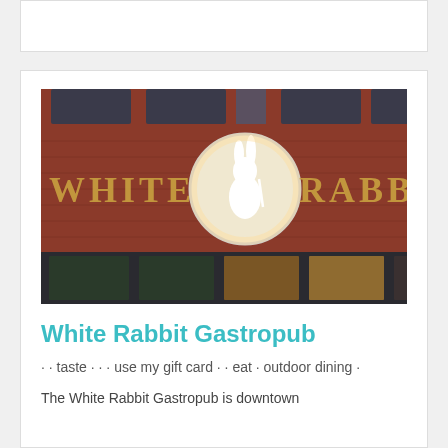[Figure (photo): Exterior photo of White Rabbit Gastropub showing a red brick building with gold lettered signage reading 'WHITE RABBIT' and a circular logo with a white rabbit holding a fork. Windows visible at top and bottom of the building.]
White Rabbit Gastropub
· · taste · · · use my gift card · · eat · outdoor dining ·
The White Rabbit Gastropub is downtown